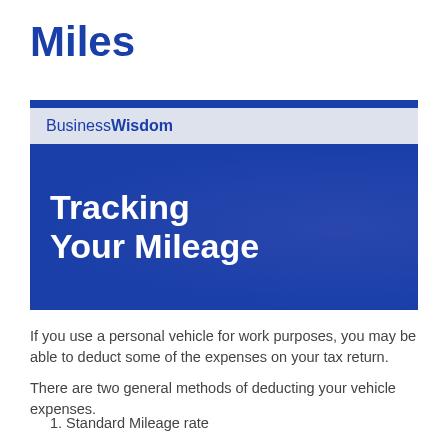Miles
[Figure (infographic): BusinessWisdom banner with navy blue background and white bold text reading 'Tracking Your Mileage'. A light grey header strip contains the 'BusinessWisdom' logo text.]
If you use a personal vehicle for work purposes, you may be able to deduct some of the expenses on your tax return.
There are two general methods of deducting your vehicle expenses.
1. Standard Mileage rate